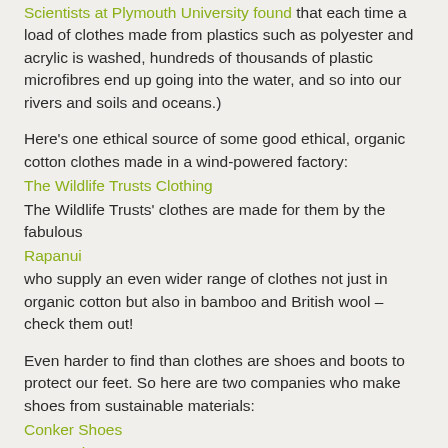Scientists at Plymouth University found that each time a load of clothes made from plastics such as polyester and acrylic is washed, hundreds of thousands of plastic microfibres end up going into the water, and so into our rivers and soils and oceans.)
Here's one ethical source of some good ethical, organic cotton clothes made in a wind-powered factory:
The Wildlife Trusts Clothing
The Wildlife Trusts' clothes are made for them by the fabulous
Rapanui
who supply an even wider range of clothes not just in organic cotton but also in bamboo and British wool – check them out!
Even harder to find than clothes are shoes and boots to protect our feet. So here are two companies who make shoes from sustainable materials:
Conker Shoes
Green Shoes
This isn't a supplier site, but is fascinating because it's about